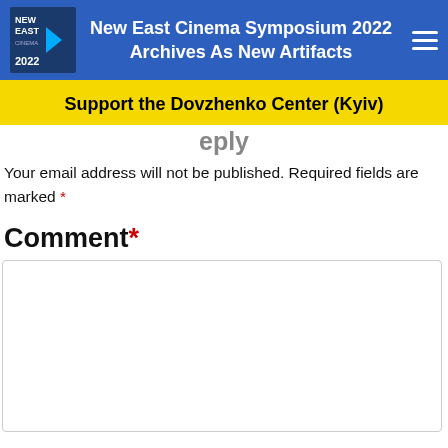New East Cinema Symposium 2022 Archives As New Artifacts
Support the Dovzhenko Center (Kyiv)
Your email address will not be published. Required fields are marked *
Comment *
[Figure (other): Empty comment textarea input box]